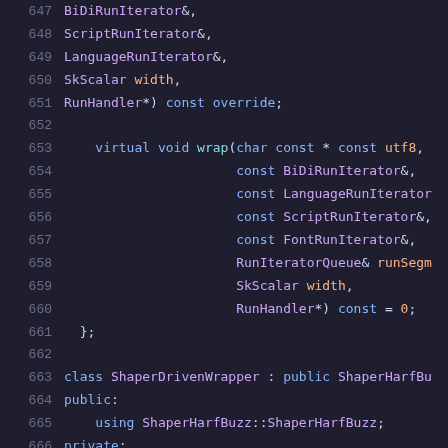Code snippet lines 647-668: C++ class definition with BiDiRunIterator, ScriptRunIterator, LanguageRunIterator, SkScalar width, RunHandler* const override; virtual void wrap(...); class ShaperDrivenWrapper : public ShaperHarfBu...; public: using ShaperHarfBuzz::ShaperHarfBuzz; private: void wrap(char const * const utf8, size_t u... const BiDiRunIterator&